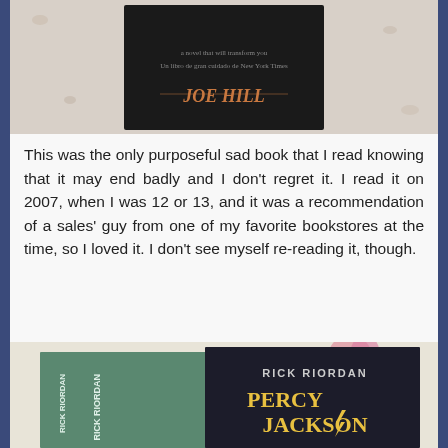[Figure (photo): Photo of a dark book cover with author name Joe Hill visible]
This was the only purposeful sad book that I read knowing that it may end badly and I don't regret it. I read it on 2007, when I was 12 or 13, and it was a recommendation of a sales' guy from one of my favorite bookstores at the time, so I loved it. I don't see myself re-reading it, though.
2)  The Last Olympian, by Rick Riordan (Percy Jackson #5)
[Figure (photo): Photo of two Rick Riordan Percy Jackson books on a floral surface]